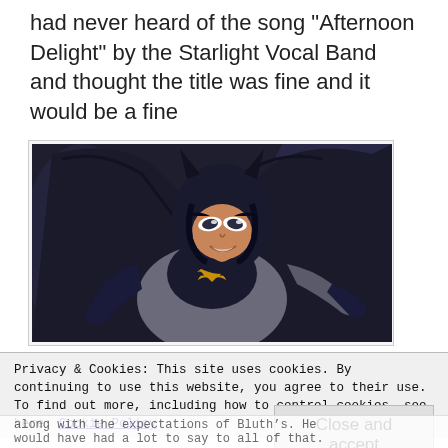had never heard of the song “Afternoon Delight” by the Starlight Vocal Band and thought the title was fine and it would be a fine
[Figure (illustration): Animated cartoon image of Batman (from Batman: The Animated Series) sitting in a relaxed/lounging pose, wearing his dark blue and grey costume with bat emblem on chest, looking sideways with a slight smirk.]
Privacy & Cookies: This site uses cookies. By continuing to use this website, you agree to their use.
To find out more, including how to control cookies, see here: Cookie Policy
Close and accept
along with the expectations of Bluth’s. He would have had a lot to say to all of that.